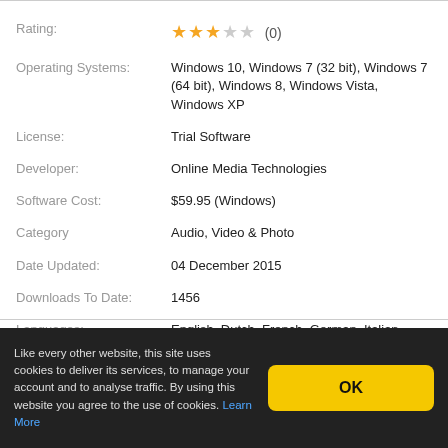| Field | Value |
| --- | --- |
| Rating: | ★★★☆☆ (0) |
| Operating Systems: | Windows 10, Windows 7 (32 bit), Windows 7 (64 bit), Windows 8, Windows Vista, Windows XP |
| License: | Trial Software |
| Developer: | Online Media Technologies |
| Software Cost: | $59.95 (Windows) |
| Category | Audio, Video & Photo |
| Date Updated: | 04 December 2015 |
| Downloads To Date: | 1456 |
| Languages: | English, Dutch, French, German, Italian, Spanish |
| Download Size: | 40.00 MB |
Like every other website, this site uses cookies to deliver its services, to manage your account and to analyse traffic. By using this website you agree to the use of cookies. Learn More